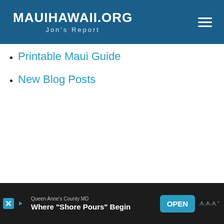MauiHawaii.org — Jon's Report
Printable Maui Guide
New Blog Posts
[Figure (screenshot): Ad banner: Queen Anne's County MD — Where 'Shore Pours' Begin, with OPEN button]